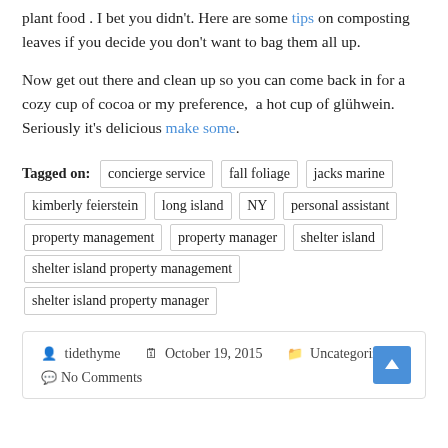plant food . I bet you didn't. Here are some tips on composting leaves if you decide you don't want to bag them all up.
Now get out there and clean up so you can come back in for a cozy cup of cocoa or my preference,  a hot cup of glühwein.  Seriously it's delicious make some.
Tagged on: concierge service  fall foliage  jacks marine  kimberly feierstein  long island  NY  personal assistant  property management  property manager  shelter island  shelter island property management  shelter island property manager
tidethyme   October 19, 2015   Uncategorized  No Comments